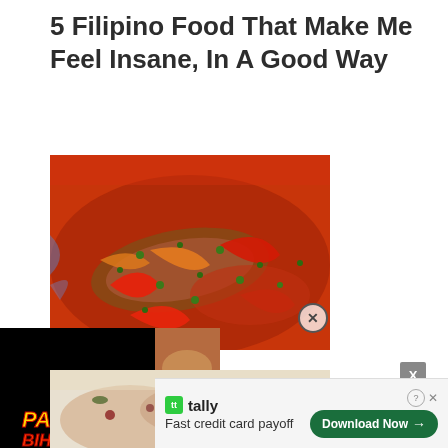5 Filipino Food That Make Me Feel Insane, In A Good Way
[Figure (photo): Close-up photo of Filipino fish dish in tomato sauce with red peppers, carrots and green herbs (escabeche)]
[Figure (screenshot): Video overlay with play button showing Pancit Bihon text, on black background with food thumbnail]
beche
[Figure (photo): Second Filipino food photo showing a dish with toppings, partially visible]
[Figure (screenshot): Advertisement banner: Tally app - Fast credit card payoff - Download Now button]